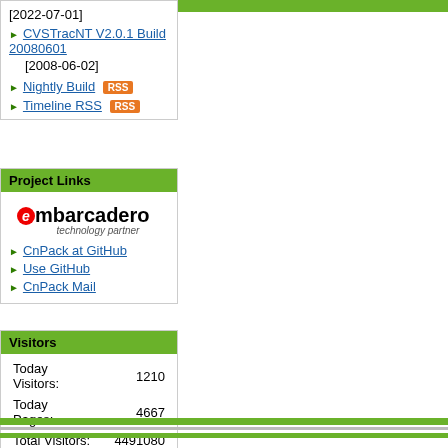[2022-07-01]
CVSTracNT V2.0.1 Build 20080601 [2008-06-02]
Nightly Build RSS
Timeline RSS
Project Links
[Figure (logo): Embarcadero technology partner logo]
CnPack at GitHub
Use GitHub
CnPack Mail
Visitors
| Today Visitors: | 1210 |
| Today Pages: | 4667 |
| Total Visitors: | 4491080 |
| Total Pages: | 17615233 |
| Since: 2003-09-01 |  |